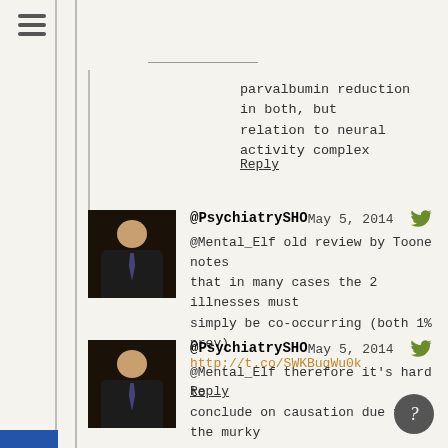[Figure (other): Hamburger menu icon with three horizontal bars]
parvalbumin reduction in both, but relation to neural activity complex
Reply
@PsychiatrySHO   May 5, 2014
@Mental_Elf old review by Toone notes that in many cases the 2 illnesses must simply be co-occurring (both 1% prev) http://t.co/SWKBuqWu0k
Reply
@PsychiatrySHO   May 5, 2014
@Mental_Elf therefore it's hard to conclude on causation due to the murky subgroups.
Reply